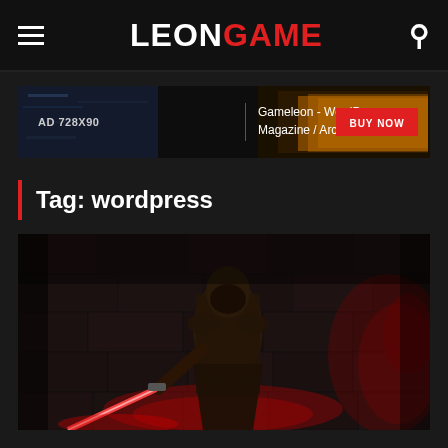LEON GAME
[Figure (screenshot): AD 728X90 banner for Gameleon - WordPress Magazine / Arcade Theme with BUY NOW button]
Tag: wordpress
[Figure (photo): Dark fantasy scene showing a hooded figure holding a glowing red lightsaber in a stone dungeon environment]